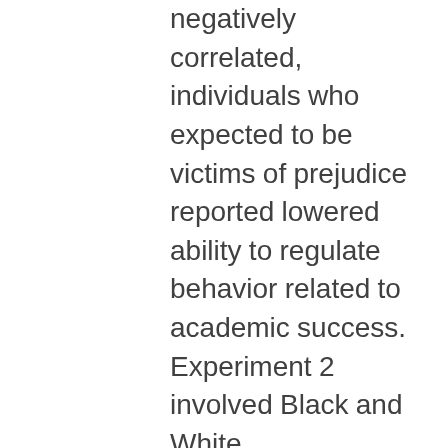negatively correlated, individuals who expected to be victims of prejudice reported lowered ability to regulate behavior related to academic success. Experiment 2 involved Black and White undergraduates who completed a task requiring high levels of self-regulation (the Stroop task) after being led to expect that they would later complete a difficult verbal exam described as being either diagnostic (stereotype threat for Blacks) or nondiagnostic (no stereotype threat) of intellectual ability. Stroop performance was poor for Blacks under stereotype threat compared with Blacks under no stereotype threat, and Whites